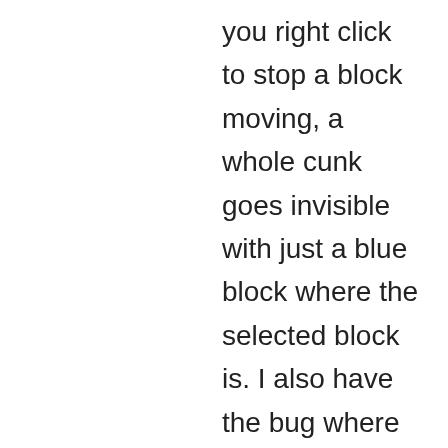you right click to stop a block moving, a whole cunk goes invisible with just a blue block where the selected block is. I also have the bug where you have to aim at the bottom of a big block, and find this is even worse if you are higher up than the block you are selecting. Might I recommend that you aim more for a download market aswell, with greater options for graphics such as resolution, AA, motion blur, DoF, etc, as well as fitting more content in such as textures and sounds. By all means keep it working